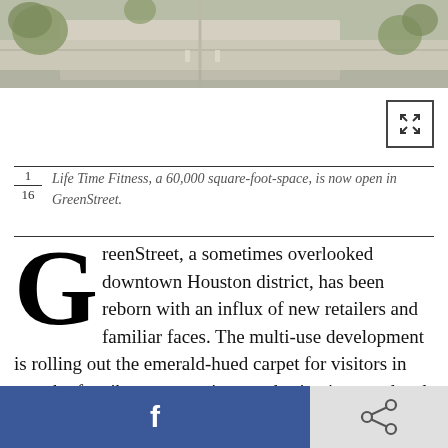[Figure (photo): Aerial/overhead view of a downtown Houston street intersection with trees and pavement, light beige and green tones.]
1/16 Life Time Fitness, a 60,000 square-foot-space, is now open in GreenStreet.
GreenStreet, a sometimes overlooked downtown Houston district, has been reborn with an influx of new retailers and familiar faces. The multi-use development is rolling out the emerald-hued carpet for visitors in search of a vibrant entertainment destination, top level office space and artwork that captures the spirit of Houston.